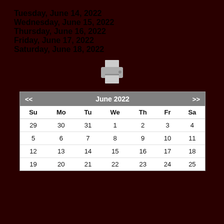Tuesday, June 14, 2022
Wednesday, June 15, 2022
Thursday, June 16, 2022
Friday, June 17, 2022
Saturday, June 18, 2022
[Figure (illustration): Printer icon (monochrome)]
| Su | Mo | Tu | We | Th | Fr | Sa |
| --- | --- | --- | --- | --- | --- | --- |
| 29 | 30 | 31 | 1 | 2 | 3 | 4 |
| 5 | 6 | 7 | 8 | 9 | 10 | 11 |
| 12 | 13 | 14 | 15 | 16 | 17 | 18 |
| 19 | 20 | 21 | 22 | 23 | 24 | 25 |